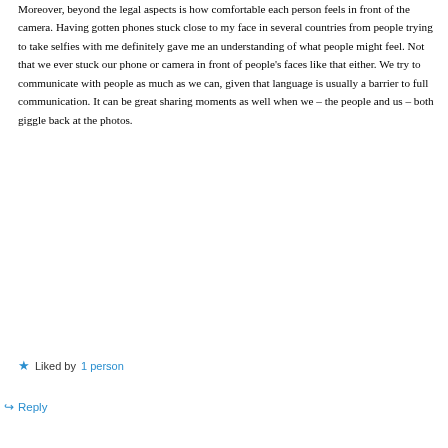Moreover, beyond the legal aspects is how comfortable each person feels in front of the camera. Having gotten phones stuck close to my face in several countries from people trying to take selfies with me definitely gave me an understanding of what people might feel. Not that we ever stuck our phone or camera in front of people's faces like that either. We try to communicate with people as much as we can, given that language is usually a barrier to full communication. It can be great sharing moments as well when we – the people and us – both giggle back at the photos.
Liked by 1 person
Reply